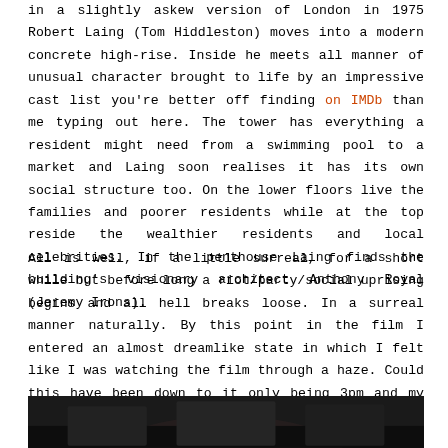in a slightly askew version of London in 1975 Robert Laing (Tom Hiddleston) moves into a modern concrete high-rise. Inside he meets all manner of unusual character brought to life by an impressive cast list you're better off finding on IMDb than me typing out here. The tower has everything a resident might need from a swimming pool to a market and Laing soon realises it has its own social structure too. On the lower floors live the families and poorer residents while at the top reside the wealthier residents and local celebrities. In the penthouse Laing finds the building's visionary architect Anthony Royal (Jeremy Irons).
All is well, if a little surreal, for a short while but before long a riot/party/social uprising begins and all hell breaks loose. In a surreal manner naturally. By this point in the film I entered an almost dreamlike state in which I felt like I was watching the film through a haze. Could this have been down to it only being 3pm and my watching my third film of the day or was I being elevated to a higher plane through cinema? I'll let you decide.
[Figure (photo): Dark cinematic still image, appears to be a scene from the film High-Rise, dark toned photograph showing partial view at bottom of page]